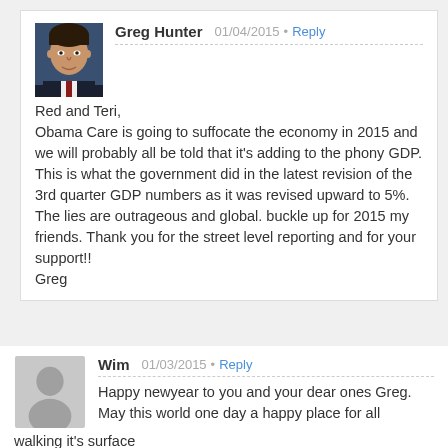[Figure (photo): Profile photo of Greg Hunter, a man in a suit against a blue background]
Greg Hunter   01/04/2015  •  Reply
Red and Teri,
Obama Care is going to suffocate the economy in 2015 and we will probably all be told that it's adding to the phony GDP. This is what the government did in the latest revision of the 3rd quarter GDP numbers as it was revised upward to 5%. The lies are outrageous and global. buckle up for 2015 my friends. Thank you for the street level reporting and for your support!!
Greg
[Figure (illustration): Generic grey silhouette avatar placeholder for user Wim]
Wim   01/03/2015  •  Reply
Happy newyear to you and your dear ones Greg. May this world one day a happy place for all walking it's surface